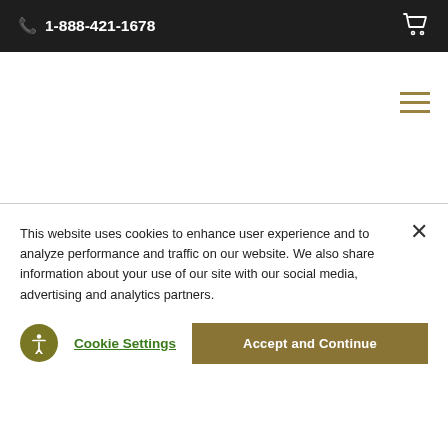1-888-421-1678
[Figure (screenshot): Website screenshot showing a gold investment company page with book images (2022 Global Gold Forecast) in a light gray section, and a cookie consent banner overlay at the bottom.]
This website uses cookies to enhance user experience and to analyze performance and traffic on our website. We also share information about your use of our site with our social media, advertising and analytics partners.
Cookie Settings
Accept and Continue